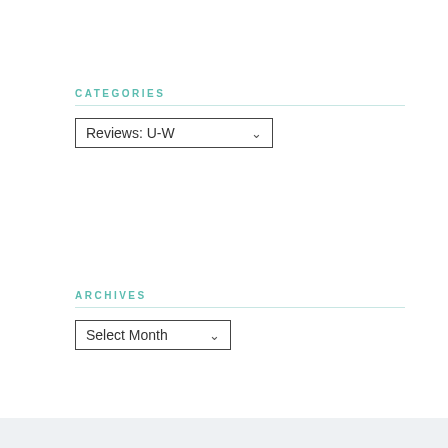CATEGORIES
Reviews: U-W (dropdown)
ARCHIVES
Select Month (dropdown)